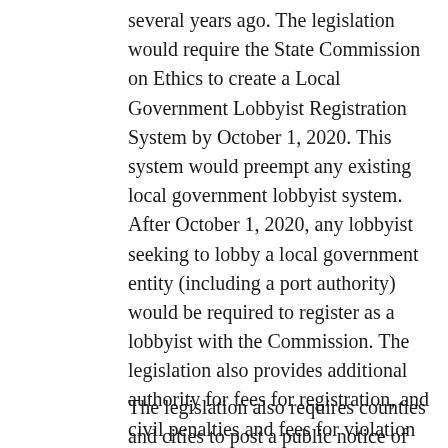several years ago. The legislation would require the State Commission on Ethics to create a Local Government Lobbyist Registration System by October 1, 2020. This system would preempt any existing local government lobbyist system. After October 1, 2020, any lobbyist seeking to lobby a local government entity (including a port authority) would be required to register as a lobbyist with the Commission. The legislation also provides additional authority for fees for registration, and civil penalties and fees for violation of the registration requirements by lobbyists.
The legislation also requires counties and cities to post a public notice of their meeting on their official websites at least 7 days before the meeting. The legislation does not currently mandate that special districts or other local